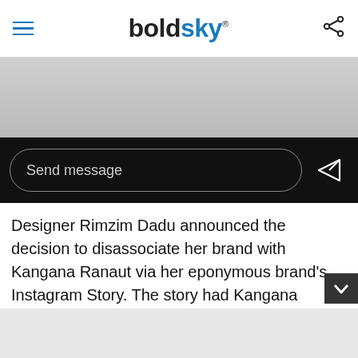boldsky®
[Figure (screenshot): Gray banner area below header, appears to be a partially visible image or story content]
Send message
Designer Rimzim Dadu announced the decision to disassociate her brand with Kangana Ranaut via her eponymous brand's Instagram Story. The story had Kangana Ranaut flaunting a gold metallic dress by Rimzim Dadu and the designer wrote, "Never too late to do the right thing! We are removing all posts of past collaborations with Kangana Ranaut from our social